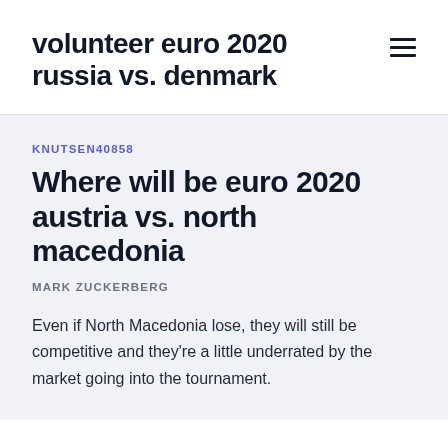volunteer euro 2020 russia vs. denmark
KNUTSEN40858
Where will be euro 2020 austria vs. north macedonia
MARK ZUCKERBERG
Even if North Macedonia lose, they will still be competitive and they're a little underrated by the market going into the tournament.